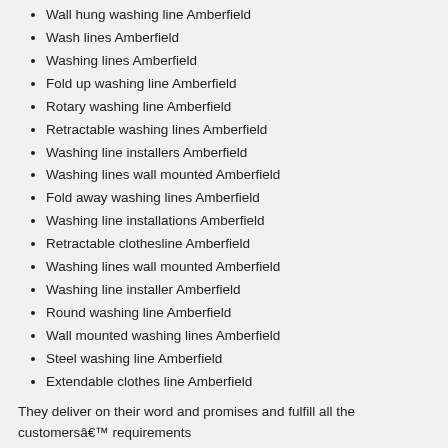Wall hung washing line Amberfield
Wash lines Amberfield
Washing lines Amberfield
Fold up washing line Amberfield
Rotary washing line Amberfield
Retractable washing lines Amberfield
Washing line installers Amberfield
Washing lines wall mounted Amberfield
Fold away washing lines Amberfield
Washing line installations Amberfield
Retractable clothesline Amberfield
Washing lines wall mounted Amberfield
Washing line installer Amberfield
Round washing line Amberfield
Wall mounted washing lines Amberfield
Steel washing line Amberfield
Extendable clothes line Amberfield
They deliver on their word and promises and fulfill all the customersâ€™ requirements
Why wait any longer for the heap to grow? Give us a call today and ensure the best services in no time at all!From installations to repairs and maintenance, we treat every job with the same devotion and dedication as the previous
We are the best Washing lines wall mounted company in Amberfield so give us a call at: 010 109 3728 today!